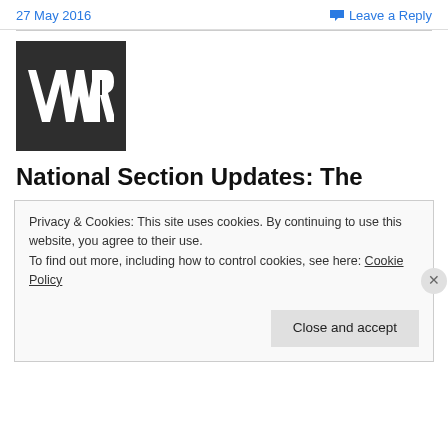27 May 2016    Leave a Reply
[Figure (logo): VWR logo — white VWR letters on dark grey/black square background]
National Section Updates: The
Privacy & Cookies: This site uses cookies. By continuing to use this website, you agree to their use.
To find out more, including how to control cookies, see here: Cookie Policy
Close and accept